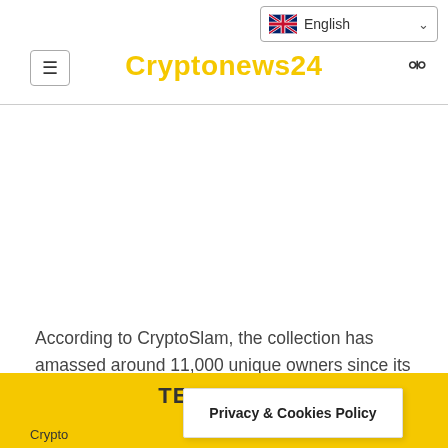Cryptonews24
According to CryptoSlam, the collection has amassed around 11,000 unique owners since its inception. On average, a bored ape was sold for
TELEGRAM
Crypto
Privacy & Cookies Policy